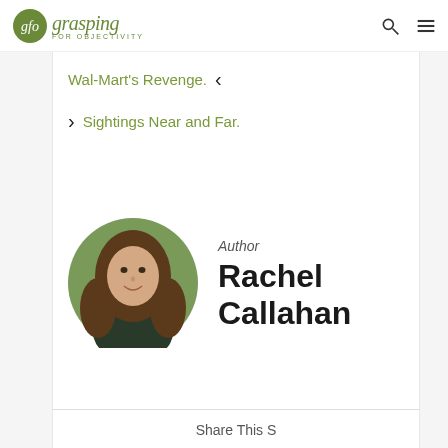gfo grasping FOR OBJECTIVITY
Wal-Mart's Revenge. <
> Sightings Near and Far.
Author
Rachel Callahan
[Figure (photo): Circular portrait photo of Rachel Callahan, a woman with long brown hair, smiling, outdoors with green foliage in background]